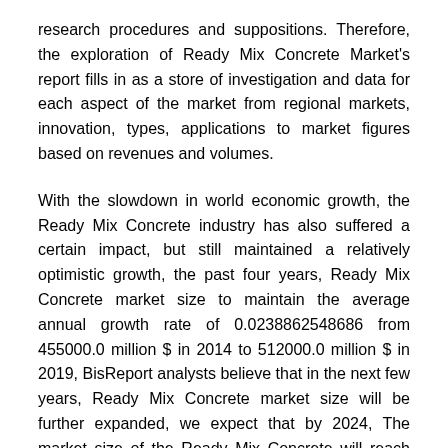research procedures and suppositions. Therefore, the exploration of Ready Mix Concrete Market's report fills in as a store of investigation and data for each aspect of the market from regional markets, innovation, types, applications to market figures based on revenues and volumes.
With the slowdown in world economic growth, the Ready Mix Concrete industry has also suffered a certain impact, but still maintained a relatively optimistic growth, the past four years, Ready Mix Concrete market size to maintain the average annual growth rate of 0.0238862548686 from 455000.0 million $ in 2014 to 512000.0 million $ in 2019, BisReport analysts believe that in the next few years, Ready Mix Concrete market size will be further expanded, we expect that by 2024, The market size of the Ready Mix Concrete will reach 624000.0 million $.
The report consists of the basic to in-depth details of the